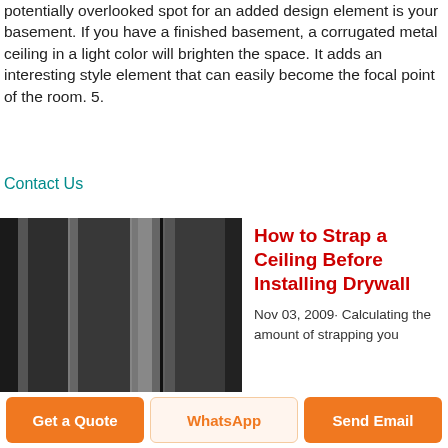potentially overlooked spot for an added design element is your basement. If you have a finished basement, a corrugated metal ceiling in a light color will brighten the space. It adds an interesting style element that can easily become the focal point of the room. 5.
Contact Us
[Figure (photo): Photo of corrugated metal ceiling panels in dark grey/silver tones showing vertical striped pattern]
How to Strap a Ceiling Before Installing Drywall
Nov 03, 2009· Calculating the amount of strapping you
Get a Quote
WhatsApp
Send Email